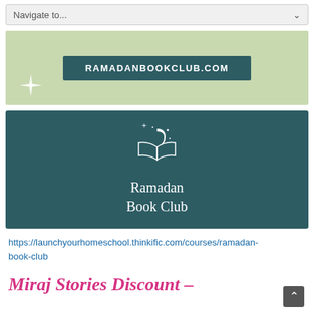Navigate to...
[Figure (logo): Green banner with dark teal rectangle containing text RAMADANBOOKCLUB.COM and a white four-pointed star on the left]
[Figure (logo): Dark teal rectangle with Ramadan Book Club logo: open book with crescent moon above and small stars, text 'Ramadan Book Club' in white serif font]
https://launchyourhomeschool.thinkific.com/courses/ramadan-book-club
Miraj Stories Discount –